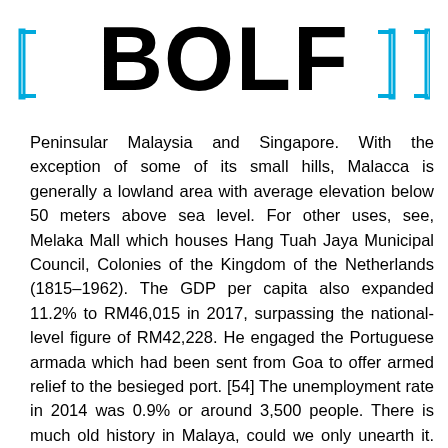BOLF
Peninsular Malaysia and Singapore. With the exception of some of its small hills, Malacca is generally a lowland area with average elevation below 50 meters above sea level. For other uses, see, Melaka Mall which houses Hang Tuah Jaya Municipal Council, Colonies of the Kingdom of the Netherlands (1815–1962). The GDP per capita also expanded 11.2% to RM46,015 in 2017, surpassing the national-level figure of RM42,228. He engaged the Portuguese armada which had been sent from Goa to offer armed relief to the besieged port. [54] The unemployment rate in 2014 was 0.9% or around 3,500 people. There is much old history in Malaya, could we only unearth it. The Melaka United football team won the first Malaysia Premier League title in 1983, in addition they were the champion of the third division of the Malaysia football league, FAM League Cup, in 2015 before won the second Premier League title a year after it. A subreddit for those who enjoy flags, the history behind them, and their design characteristics.[35] On 10 December 2012 the Melaka State...